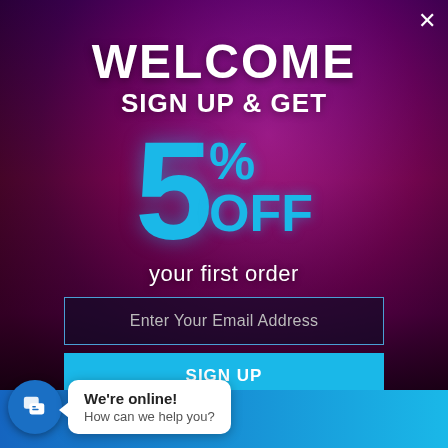WELCOME
SIGN UP & GET
[Figure (infographic): Large promotional text showing '5% OFF your first order' with cyan/blue colored numbers on a dark concert crowd background with purple/pink lighting]
Enter Your Email Address
We're online!
How can we help you?